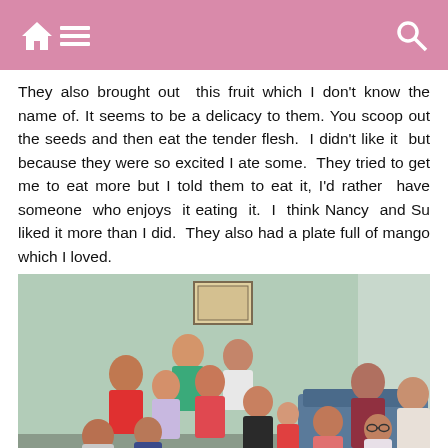Navigation bar with home, menu, and search icons
They also brought out  this fruit which I don't know the name of. It seems to be a delicacy to them. You scoop out the seeds and then eat the tender flesh.  I didn't like it  but because they were so excited I ate some.  They tried to get me to eat more but I told them to eat it, I'd rather  have  someone  who  enjoys  it  eating  it.  I  think Nancy  and Su liked it more than I did.  They also had a plate full of mango which I loved.
[Figure (photo): Group photo of approximately 20 people of Asian descent seated and standing in a room with a light green wall. A framed picture hangs on the wall in the background. People are arranged in multiple rows, with some seated on chairs and sofas and others sitting on the floor.]